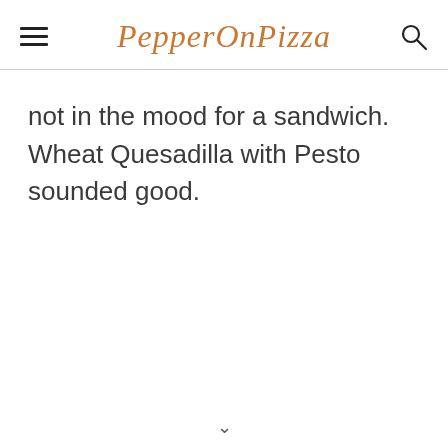PepperOnPizza
not in the mood for a sandwich. Wheat Quesadilla with Pesto sounded good.